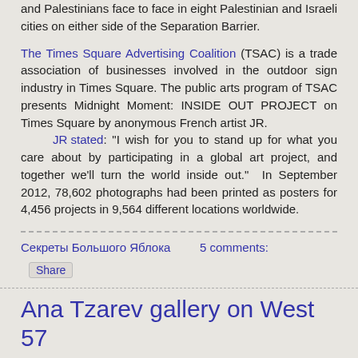and Palestinians face to face in eight Palestinian and Israeli cities on either side of the Separation Barrier.
The Times Square Advertising Coalition (TSAC) is a trade association of businesses involved in the outdoor sign industry in Times Square. The public arts program of TSAC presents Midnight Moment: INSIDE OUT PROJECT on Times Square by anonymous French artist JR.
	JR stated: "I wish for you to stand up for what you care about by participating in a global art project, and together we'll turn the world inside out." In September 2012, 78,602 photographs had been printed as posters for 4,456 projects in 9,564 different locations worldwide.
Секреты Большого Яблока     5 comments:
Share
Ana Tzarev gallery on West 57